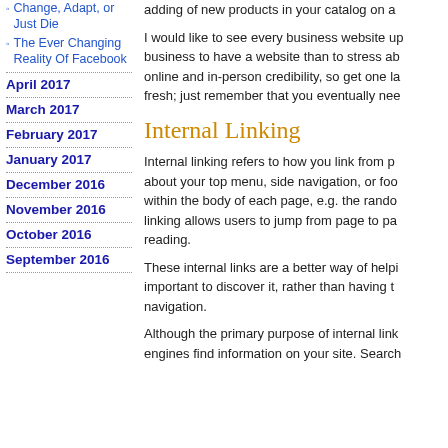Change, Adapt, or Just Die
The Ever Changing Reality Of Facebook
April 2017
March 2017
February 2017
January 2017
December 2016
November 2016
October 2016
September 2016
adding of new products in your catalog on a...
I would like to see every business website up... business to have a website than to stress ab... online and in-person credibility, so get one la... fresh; just remember that you eventually nee...
Internal Linking
Internal linking refers to how you link from p... about your top menu, side navigation, or foo... within the body of each page, e.g. the rando... linking allows users to jump from page to pa... reading.
These internal links are a better way of helpi... important to discover it, rather than having t... navigation.
Although the primary purpose of internal link... engines find information on your site. Search...